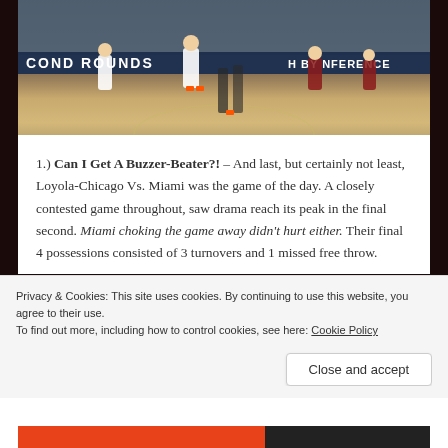[Figure (photo): Basketball game photo showing players on court during March Madness Second Rounds, with orange and maroon uniforms]
1.) Can I Get A Buzzer-Beater?! – And last, but certainly not least, Loyola-Chicago Vs. Miami was the game of the day. A closely contested game throughout, saw drama reach its peak in the final second. Miami choking the game away didn't hurt either. Their final 4 possessions consisted of 3 turnovers and 1 missed free throw.
Privacy & Cookies: This site uses cookies. By continuing to use this website, you agree to their use.
To find out more, including how to control cookies, see here: Cookie Policy
Close and accept